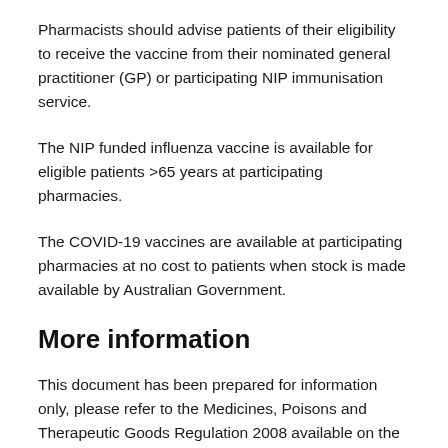Pharmacists should advise patients of their eligibility to receive the vaccine from their nominated general practitioner (GP) or participating NIP immunisation service.
The NIP funded influenza vaccine is available for eligible patients >65 years at participating pharmacies.
The COVID-19 vaccines are available at participating pharmacies at no cost to patients when stock is made available by Australian Government.
More information
This document has been prepared for information only, please refer to the Medicines, Poisons and Therapeutic Goods Regulation 2008 available on the